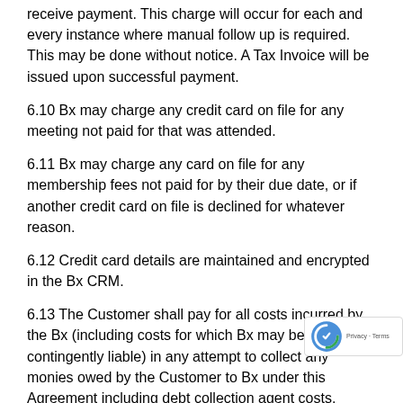receive payment. This charge will occur for each and every instance where manual follow up is required. This may be done without notice. A Tax Invoice will be issued upon successful payment.
6.10 Bx may charge any credit card on file for any meeting not paid for that was attended.
6.11 Bx may charge any card on file for any membership fees not paid for by their due date, or if another credit card on file is declined for whatever reason.
6.12 Credit card details are maintained and encrypted in the Bx CRM.
6.13 The Customer shall pay for all costs incurred by the Bx (including costs for which Bx may be contingently liable) in any attempt to collect any monies owed by the Customer to Bx under this Agreement including debt collection agent costs, repossession costs, location search costs, process server costs and solicitor costs on a solicitor/client ba
6.14 – A $50 + GST fee will be charged should outstan monies be referred to a debt collection agency. This fee